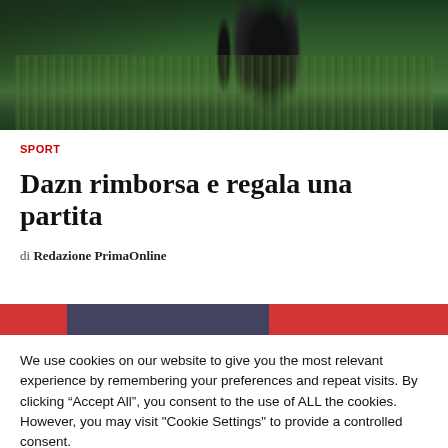[Figure (photo): Top portion of a photograph showing grass and dark equipment/stand objects on a green field]
SPORT
Dazn rimborsa e regala una partita
di Redazione PrimaOnline
[Figure (photo): Partial view of another image with red and dark blue colors]
We use cookies on our website to give you the most relevant experience by remembering your preferences and repeat visits. By clicking “Accept All”, you consent to the use of ALL the cookies. However, you may visit "Cookie Settings" to provide a controlled consent.